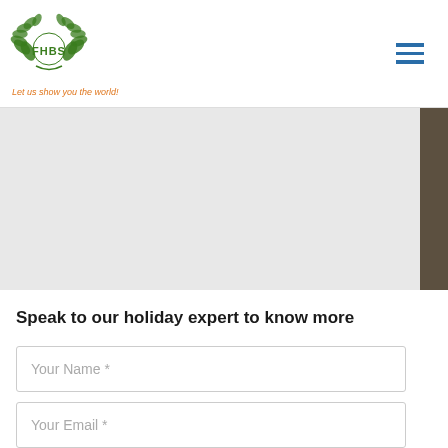[Figure (logo): FHBS logo with green laurel wreath and tagline 'Let us show you the world!' in orange italic text]
[Figure (photo): Large image area with white/grey region and dark brown sidebar on right edge]
Speak to our holiday expert to know more
Your Name *
Your Email *